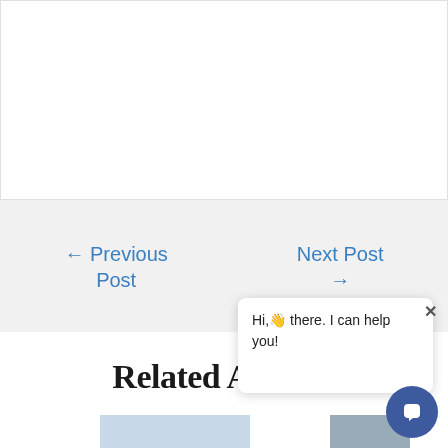[Figure (other): White content area / blank upper section of webpage]
← Previous Post
Next Post →
Related Articles
[Figure (other): Chat widget popup with close button and speech bubble icon. Text: Hi,👋 there. I can help you!]
[Figure (photo): Partial thumbnail image visible at bottom of page]